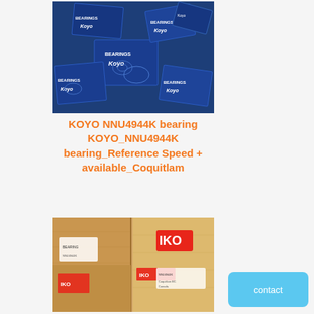[Figure (photo): Photo of multiple KOYO bearing boxes in blue packaging scattered on a surface]
KOYO NNU4944K bearing KOYO_NNU4944K bearing_Reference Speed + available_Coquitlam
[Figure (photo): Photo of wooden crates/boxes with IKO brand labels, used for bearing packaging and shipping]
contact